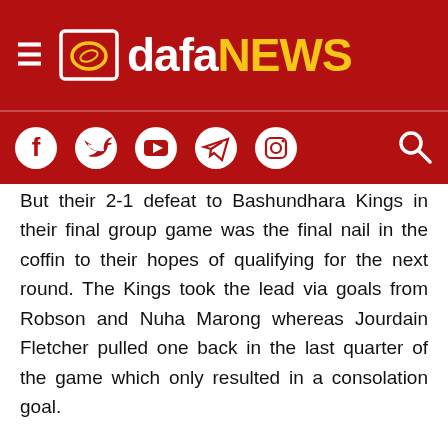dafaNEWS
But their 2-1 defeat to Bashundhara Kings in their final group game was the final nail in the coffin to their hopes of qualifying for the next round. The Kings took the lead via goals from Robson and Nuha Marong whereas Jourdain Fletcher pulled one back in the last quarter of the game which only resulted in a consolation goal.
After the match Gokulam boss Vincenzo Alberto Annese highlighted how his team failed to take the chances whereas the Kings made the most of their chances as he also praised Robson Silva for his exceptional performance.
“What went wrong is that ordinarily, we don’t concede too many chances. We knew their no.10 is such a quality player. He made a big difference in 1v1 chances and created a lot of chances and we knew he was the biggest strength of the team. We performed well